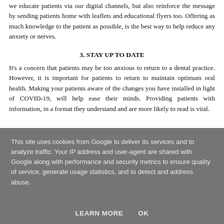we educate patients via our digital channels, but also reinforce the message by sending patients home with leaflets and educational flyers too. Offering as much knowledge to the patient as possible, is the best way to help reduce any anxiety or nerves.
3. STAY UP TO DATE
It's a concern that patients may be too anxious to return to a dental practice. However, it is important for patients to return to maintain optimum oral health. Making your patients aware of the changes you have installed in light of COVID-19, will help ease their minds. Providing patients with information, in a format they understand and are more likely to read is vital.
This site uses cookies from Google to deliver its services and to analyze traffic. Your IP address and user-agent are shared with Google along with performance and security metrics to ensure quality of service, generate usage statistics, and to detect and address abuse.
LEARN MORE    OK